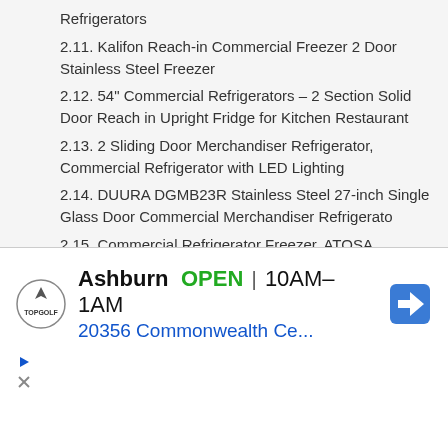Refrigerators
2.11. Kalifon Reach-in Commercial Freezer 2 Door Stainless Steel Freezer
2.12. 54" Commercial Refrigerators – 2 Section Solid Door Reach in Upright Fridge for Kitchen Restaurant
2.13. 2 Sliding Door Merchandiser Refrigerator, Commercial Refrigerator with LED Lighting
2.14. DUURA DGMB23R Stainless Steel 27-inch Single Glass Door Commercial Merchandiser Refrigerato
2.15. Commercial Refrigerator Freezer, ATOSA MBF8001 Single 1-Door Top Mount Stainless Steel
3. Basic Factors You Need To Consider To Choose The Quietest Commercial Refrigerator
3.1. The Energy Star Sticker
3.2. Top-mount vs. Bottom-mount
[Figure (other): Advertisement banner for TopGolf in Ashburn, showing OPEN 10AM-1AM, address 20356 Commonwealth Ce..., with navigation icon and TopGolf logo]